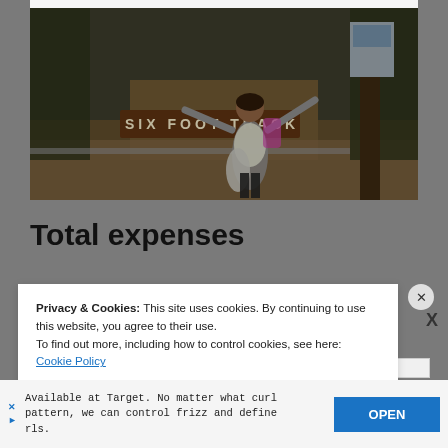[Figure (photo): A person standing at the start of the Six Foot Track trail, arms outstretched, holding a sleeping bag, with a trail sign reading 'SIX FOOT TRACK' in the background. Dense bushland setting.]
Total expenses
Privacy & Cookies: This site uses cookies. By continuing to use this website, you agree to their use.
To find out more, including how to control cookies, see here: Cookie Policy
Available at Target. No matter what curl pattern, we can control frizz and define curls.